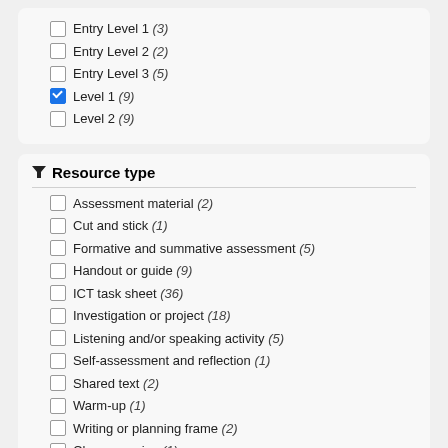Entry Level 1 (3)
Entry Level 2 (2)
Entry Level 3 (5)
Level 1 (9) [checked]
Level 2 (9)
Resource type
Assessment material (2)
Cut and stick (1)
Formative and summative assessment (5)
Handout or guide (9)
ICT task sheet (36)
Investigation or project (18)
Listening and/or speaking activity (5)
Self-assessment and reflection (1)
Shared text (2)
Warm-up (1)
Writing or planning frame (2)
Cloze exercise (1)
Game (2)
Hands-on / practical activity (2)
Ice breaker (1)
Informative presentation (5)